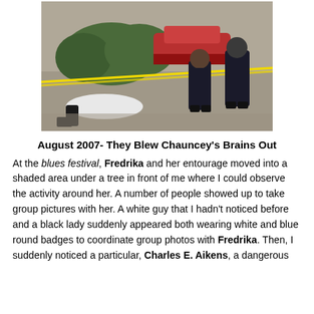[Figure (photo): Crime scene photo showing a body covered by a white sheet on pavement, with police officers standing nearby behind yellow caution tape and a red car and bushes in the background.]
August 2007- They Blew Chauncey's Brains Out
At the blues festival, Fredrika and her entourage moved into a shaded area under a tree in front of me where I could observe the activity around her. A number of people showed up to take group pictures with her. A white guy that I hadn't noticed before and a black lady suddenly appeared both wearing white and blue round badges to coordinate group photos with Fredrika. Then, I suddenly noticed a particular, Charles E. Aikens, a dangerous